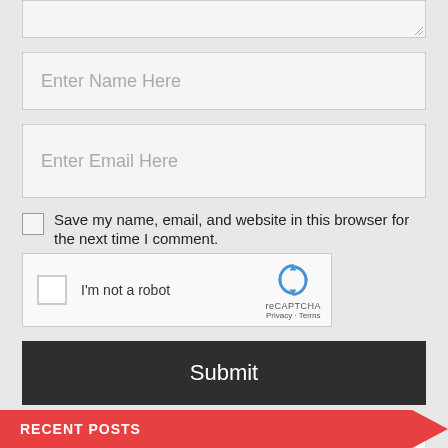[Figure (screenshot): Text area input box (top of comment form), partially visible with resize handle]
Enter Name Here
Enter Email Here
Save my name, email, and website in this browser for the next time I comment.
[Figure (screenshot): reCAPTCHA widget with checkbox, 'I'm not a robot' text, and reCAPTCHA logo with Privacy and Terms links]
Submit
Search Blog
RECENT POSTS